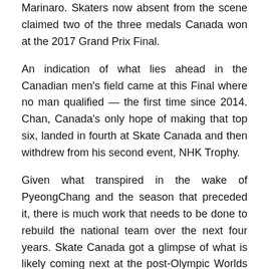Marinaro. Skaters now absent from the scene claimed two of the three medals Canada won at the 2017 Grand Prix Final.
An indication of what lies ahead in the Canadian men's field came at this Final where no man qualified — the first time since 2014. Chan, Canada's only hope of making that top six, landed in fourth at Skate Canada and then withdrew from his second event, NHK Trophy.
Given what transpired in the wake of PyeongChang and the season that preceded it, there is much work that needs to be done to rebuild the national team over the next four years. Skate Canada got a glimpse of what is likely coming next at the post-Olympic Worlds in Milan, Italy.
2018 WORLDS: HIGHS AND LOWS